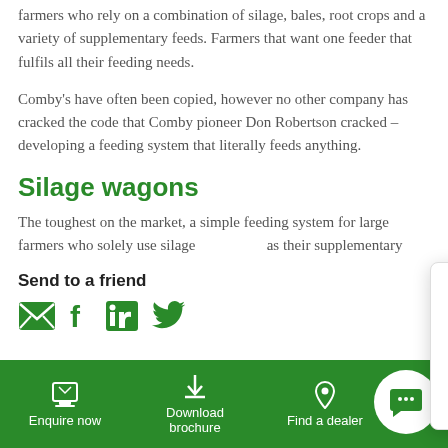farmers who rely on a combination of silage, bales, root crops and a variety of supplementary feeds. Farmers that want one feeder that fulfils all their feeding needs.
Comby's have often been copied, however no other company has cracked the code that Comby pioneer Don Robertson cracked – developing a feeding system that literally feeds anything.
Silage wagons
The toughest on the market, a simple feeding system for large farmers who sole... as their supplementary...
Send to a friend
[Figure (infographic): Social share icons: email, Facebook, LinkedIn, Twitter in green]
[Figure (infographic): Chat popup with avatars, close button, and text: Hello, thanks for visiting Hustler Farm Equipment! Can I help you in any way?]
Enquire now   Download brochure   Find a dealer